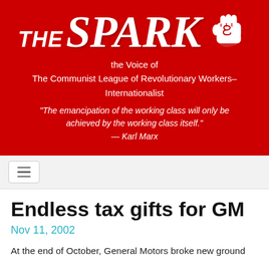THE SPARK — the Voice of The Communist League of Revolutionary Workers–Internationalist. "The emancipation of the working class will only be achieved by the working class itself." — Karl Marx
Endless tax gifts for GM
Nov 11, 2002
At the end of October, General Motors broke new ground